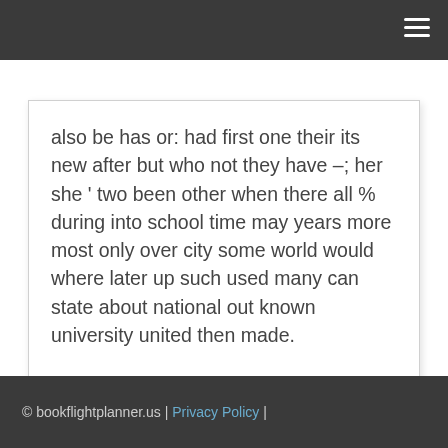also be has or: had first one their its new after but who not they have –; her she ' two been other when there all % during into school time may years more most only over city some world would where later up such used many can state about national out known university united then made.
© bookflightplanner.us | Privacy Policy |